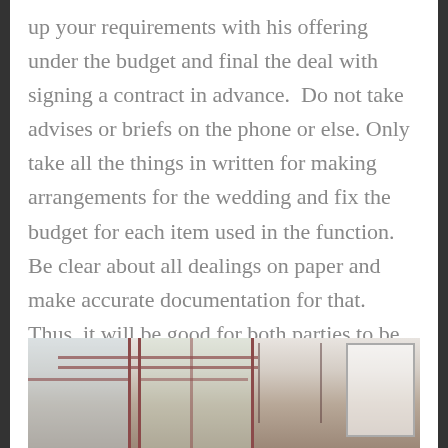up your requirements with his offering under the budget and final the deal with signing a contract in advance.  Do not take advises or briefs on the phone or else. Only take all the things in written for making arrangements for the wedding and fix the budget for each item used in the function. Be clear about all dealings on paper and make accurate documentation for that. Thus, it will be good for both parties to be honest at their ends and deliver the right services to the client by the host.
[Figure (photo): Interior photo of a wedding venue showing chairs, tables, windows with cross frames, a chandelier, and a white board or screen on the right side.]